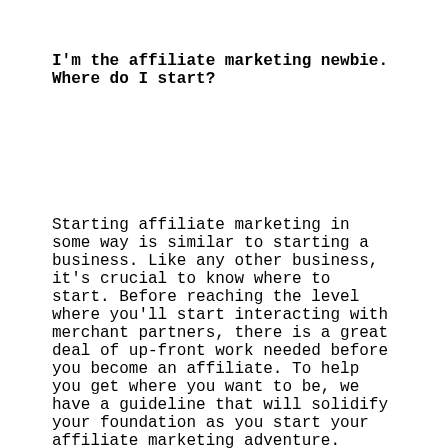I'm the affiliate marketing newbie. Where do I start?
Starting affiliate marketing in some way is similar to starting a business. Like any other business, it's crucial to know where to start. Before reaching the level where you'll start interacting with merchant partners, there is a great deal of up-front work needed before you become an affiliate. To help you get where you want to be, we have a guideline that will solidify your foundation as you start your affiliate marketing adventure.